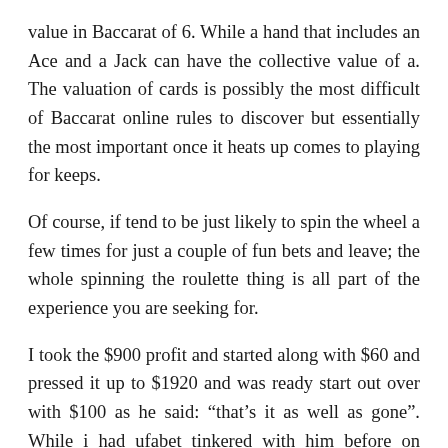value in Baccarat of 6. While a hand that includes an Ace and a Jack can have the collective value of a. The valuation of cards is possibly the most difficult of Baccarat online rules to discover but essentially the most important once it heats up comes to playing for keeps.
Of course, if tend to be just likely to spin the wheel a few times for just a couple of fun bets and leave; the whole spinning the roulette thing is all part of the experience you are seeking for.
I took the $900 profit and started along with $60 and pressed it up to $1920 and was ready start out over with $100 as he said: “that’s it as well as gone”. While i had ufabet tinkered with him before on several occasions, I knew he was probably right. Everyone calls him the “hit and run kid” models did not encourage him to stay in.
Most people think that the only strategy make a wager on